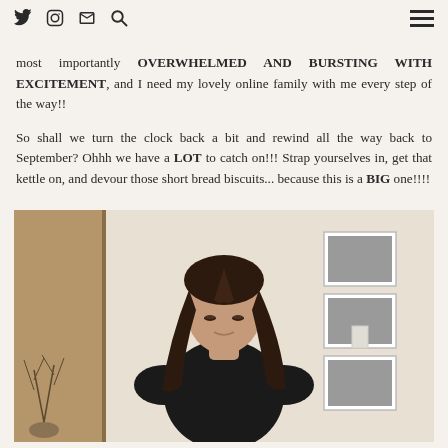[navigation icons: Twitter, Instagram, Email, Search] [hamburger menu]
most importantly OVERWHELMED AND BURSTING WITH EXCITEMENT, and I need my lovely online family with me every step of the way!!

So shall we turn the clock back a bit and rewind all the way back to September? Ohhh we have a LOT to catch on!!! Strap yourselves in, get that kettle on, and devour those short bread biscuits... because this is a BIG one!!!!
[Figure (photo): A woman with long dark hair wearing a black top, looking down, standing in a hallway with framed black and white photos on the wall behind her and a decorative branch in a vase on the left.]